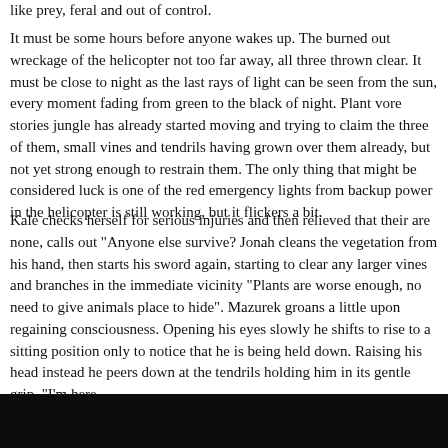like prey, feral and out of control.
It must be some hours before anyone wakes up. The burned out wreckage of the helicopter not too far away, all three thrown clear. It must be close to night as the last rays of light can be seen from the sun, every moment fading from green to the black of night. Plant vore stories jungle has already started moving and trying to claim the three of them, small vines and tendrils having grown over them already, but not yet strong enough to restrain them. The only thing that might be considered luck is one of the red emergency lights from backup power in the helicopter is still working, but it flickers a bit.
Kale checks herself for serious injuries and then relieved that their are none, calls out "Anyone else survive? Jonah cleans the vegetation from his hand, then starts his sword again, starting to clear any larger vines and branches in the immediate vicinity "Plants are worse enough, no need to give animals place to hide". Mazurek groans a little upon regaining consciousness. Opening his eyes slowly he shifts to rise to a sitting position only to notice that he is being held down. Raising his head instead he peers down at the tendrils holding him in its gentle grip, "I'm here.
[Figure (photo): Dark/black image at the bottom of the page, appears to be a dark scene from the story]